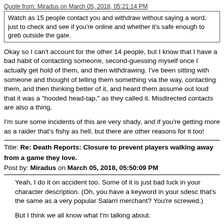Quote from: Miradus on March 05, 2018, 05:21:14 PM
Watch as 15 people contact you and withdraw without saying a word, just to check and see if you're online and whether it's safe enough to greb outside the gate.
Okay so I can't account for the other 14 people, but I know that I have a bad habit of contacting someone, second-guessing myself once I actually get hold of them, and then withdrawing. I've been sitting with someone and thought of telling them something via the way, contacting them, and then thinking better of it, and heard them assume out loud that it was a "hooded head-tap," as they called it. Misdirected contacts are also a thing.
I'm sure some incidents of this are very shady, and if you're getting more as a raider that's fishy as hell, but there are other reasons for it too!
Title: Re: Death Reports: Closure to prevent players walking away from a game they love.
Post by: Miradus on March 05, 2018, 05:50:09 PM
Yeah, I do it on accident too. Some of it is just bad luck in your character description. (Oh, you have a keyword in your sdesc that's the same as a very popular Salarri merchant? You're screwed.)
But I think we all know what I'm talking about.